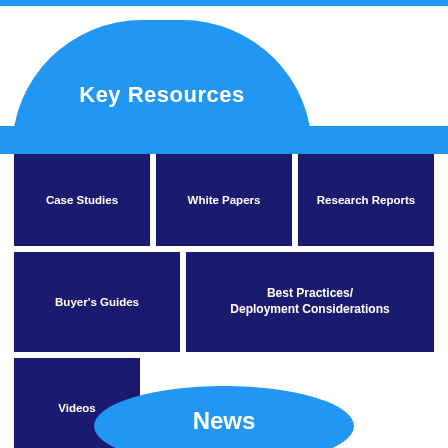Key Resources
Case Studies
White Papers
Research Reports
Buyer's Guides
Best Practices/ Deployment Considerations
Videos
News